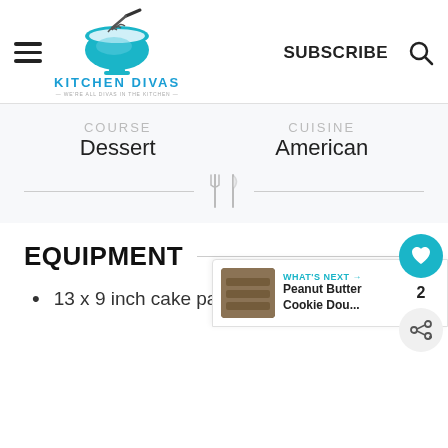[Figure (logo): Kitchen Divas logo: blue mixing bowl with whisk, text KITCHEN DIVAS, tagline WE'RE ALL DIVAS IN THE KITCHEN]
SUBSCRIBE
COURSE
Dessert
CUISINE
American
[Figure (illustration): Fork and knife crossed icon as divider]
EQUIPMENT
13 x 9 inch cake pan or 11 x 9
WHAT'S NEXT →
Peanut Butter Cookie Dou...